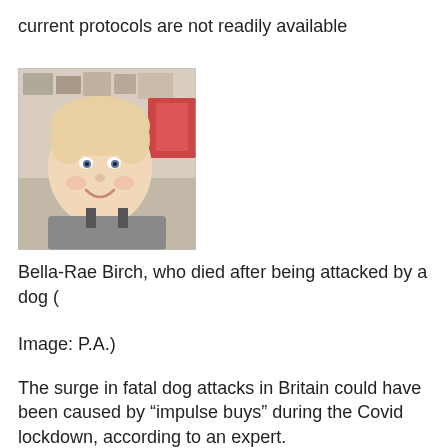current protocols are not readily available
[Figure (photo): Photo of Bella-Rae Birch, a baby/toddler smiling at the camera]
Bella-Rae Birch, who died after being attacked by a dog (
Image: P.A.)
The surge in fatal dog attacks in Britain could have been caused by “impulse buys” during the Covid lockdown, according to an expert.
An RSPCA dog specialist said the popularity of buying puppies during the pandemic may have had a hand